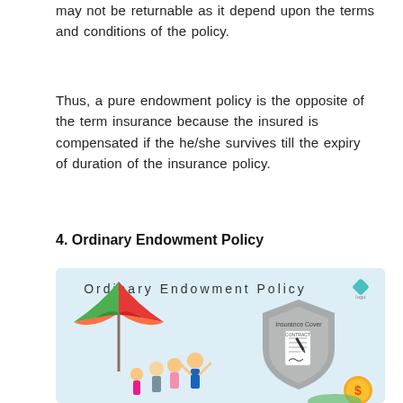may not be returnable as it depend upon the terms and conditions of the policy.
Thus, a pure endowment policy is the opposite of the term insurance because the insured is compensated if the he/she survives till the expiry of duration of the insurance policy.
4. Ordinary Endowment Policy
[Figure (illustration): Illustration of Ordinary Endowment Policy showing a family under a beach umbrella, an insurance cover shield with contract document and pen, and a coin with dollar sign. Header reads 'Ordinary Endowment Policy' with a logo.]